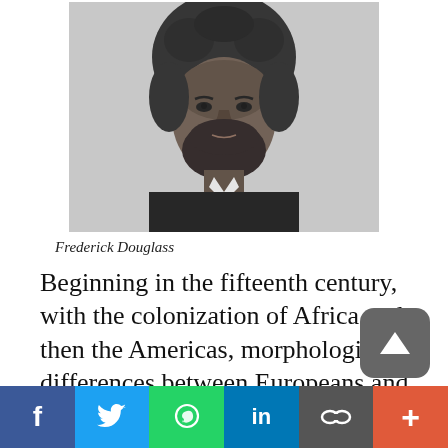[Figure (photo): Black and white portrait photograph of Frederick Douglass, showing him from chest up, wearing a dark suit with white collar, with a full beard and large afro hair.]
Frederick Douglass
Beginning in the fifteenth century, with the colonization of Africa and then the Americas, morphological differences between Europeans and non-Europeans began to serve as physical markers for the otherness they came to signify. Yet these